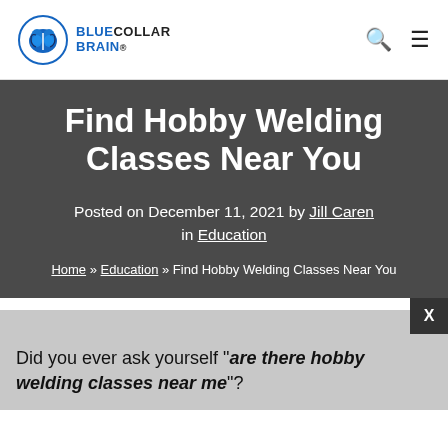Blue Collar Brain
Find Hobby Welding Classes Near You
Posted on December 11, 2021 by Jill Caren in Education
Home » Education » Find Hobby Welding Classes Near You
Did you ever ask yourself "are there hobby welding classes near me"?